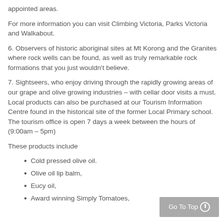appointed areas.
For more information you can visit Climbing Victoria, Parks Victoria and Walkabout.
6. Observers of historic aboriginal sites at Mt Korong and the Granites where rock wells can be found, as well as truly remarkable rock formations that you just wouldn't believe.
7. Sightseers, who enjoy driving through the rapidly growing areas of our grape and olive growing industries – with cellar door visits a must.
Local products can also be purchased at our Tourism Information Centre found in the historical site of the former Local Primary school.
The tourism office is open 7 days a week between the hours of (9:00am – 5pm)
These products include
Cold pressed olive oil.
Olive oil lip balm,
Eucy oil,
Award winning Simply Tomatoes,